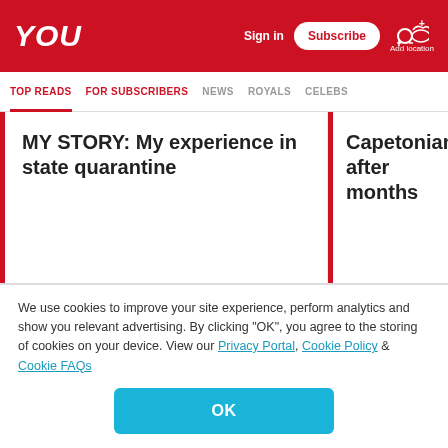YOU — Sign in | Subscribe | Add location
TOP READS | FOR SUBSCRIBERS | NEWS | ROYALS | CELEBS
MY STORY: My experience in state quarantine
Capetonian after months
READ MORE ON:
CORONAVIRUS
LIFE UNDER LOCKDOWN
DUBAI
We use cookies to improve your site experience, perform analytics and show you relevant advertising. By clicking "OK", you agree to the storing of cookies on your device. View our Privacy Portal, Cookie Policy & Cookie FAQs
OK